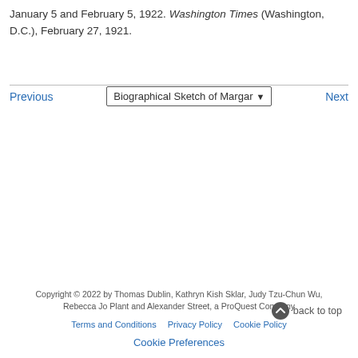January 5 and February 5, 1922. Washington Times (Washington, D.C.), February 27, 1921.
Previous | Biographical Sketch of Margar | Next
Copyright © 2022 by Thomas Dublin, Kathryn Kish Sklar, Judy Tzu-Chun Wu, Rebecca Jo Plant and Alexander Street, a ProQuest Company
Terms and Conditions | Privacy Policy | Cookie Policy
back to top
Cookie Preferences